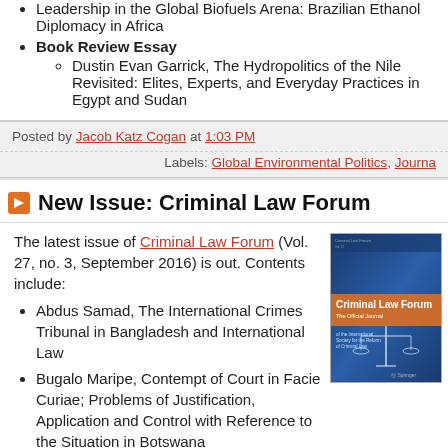Leadership in the Global Biofuels Arena: Brazilian Ethanol Diplomacy in Africa
Book Review Essay
Dustin Evan Garrick, The Hydropolitics of the Nile Revisited: Elites, Experts, and Everyday Practices in Egypt and Sudan
Posted by Jacob Katz Cogan at 1:03 PM
Labels: Global Environmental Politics, Journa...
New Issue: Criminal Law Forum
The latest issue of Criminal Law Forum (Vol. 27, no. 3, September 2016) is out. Contents include:
Abdus Samad, The International Crimes Tribunal in Bangladesh and International Law
Bugalo Maripe, Contempt of Court in Facie Curiae; Problems of Justification, Application and Control with Reference to the Situation in Botswana
Amissi Manirabona & Eduardo Saad Diniz, Towards Efficiency in Attributing Criminal Liability to Corporations:...
[Figure (illustration): Cover of Criminal Law Forum journal, blue background with scales of justice figure, subtitle: The Official Journal of the International Society for the Reform of Criminal Law, Springer publisher]